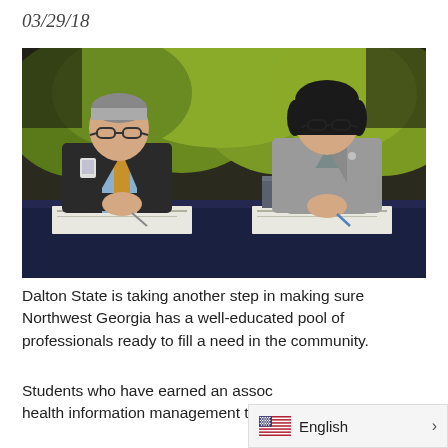03/29/18
[Figure (photo): Two people sitting at a table with a dark navy tablecloth, both signing documents. Man on the left wears a dark suit with a gold tie and glasses. Woman on the right wears a grey blazer and glasses. Green trees visible in the background outdoors.]
Dalton State is taking another step in making sure Northwest Georgia has a well-educated pool of professionals ready to fill a need in the community.
Students who have earned an assoc health information management t